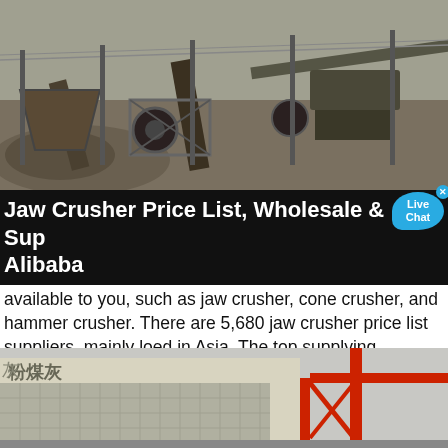[Figure (photo): Outdoor industrial jaw crusher machinery with conveyor belts and rock piles at a construction/mining site]
Jaw Crusher Price List, Wholesale & Suppliers on Alibaba
A wide variety of jaw crusher price list options are available to you, such as jaw crusher, cone crusher, and hammer crusher. There are 5,680 jaw crusher price list suppliers, mainly loed in Asia. The top supplying countries or regions are China, Japan, and India, which supply 99%, 1%, and 1% of jaw crusher price list respectively.
[Figure (photo): Industrial building with Chinese characters (粉煤灰) and a red crane structure, overcast sky background]